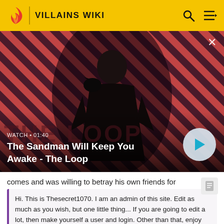VILLAINS WIKI
[Figure (screenshot): Video thumbnail showing a dark figure with a raven on their shoulder against a red and dark diagonal stripe background. Text on thumbnail: WATCH • 01:40. Title: The Sandman Will Keep You Awake - The Loop. Play button circle on right.]
comes and was willing to betray his own friends for
Hi. This is Thesecret1070. I am an admin of this site. Edit as much as you wish, but one little thing... If you are going to edit a lot, then make yourself a user and login. Other than that, enjoy Villains Wiki!!!